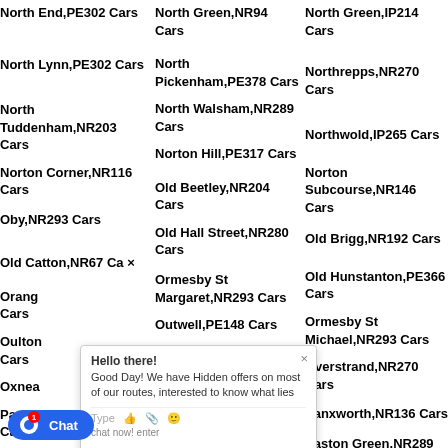North End,PE302 Cars
North Green,NR94 Cars
North Green,IP214 Cars
North Lynn,PE302 Cars
North Pickenham,PE378 Cars
Northrepps,NR270 Cars
North Tuddenham,NR203 Cars
North Walsham,NR289 Cars
Northwold,IP265 Cars
Norton Corner,NR116 Cars
Norton Hill,PE317 Cars
Norton Subcourse,NR146 Cars
Oby,NR293 Cars
Old Beetley,NR204 Cars
Old Brigg,NR192 Cars
Old Catton,NR67 Cars
Old Hall Street,NR280 Cars
Old Hunstanton,PE366 Cars
Ormesby St Margaret,NR293 Cars
Ormesby St Michael,NR293 Cars
Oulton,NR Cars
Outwell,PE148 Cars
Overstrand,NR270 Cars
Oxnead Cars
Oxwick,NR217 Cars
Panxworth,NR136 Cars
Park Cars
Paston,NR289 Cars
Paston Green,NR289 Cars
P R134 Cars
Pennygate,NR128 Cars
Pennys Green,NR161 Cars